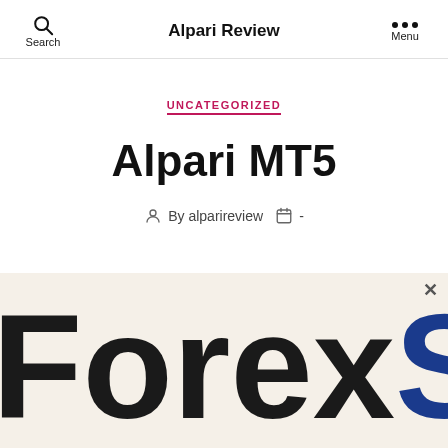Alpari Review
UNCATEGORIZED
Alpari MT5
By alparireview  -
[Figure (screenshot): Banner image showing large bold text 'ForexS' (partial), with dark almost-black color for 'Forex' and dark blue for 'S', on a light beige/cream background. A close (×) button appears in the top right corner.]